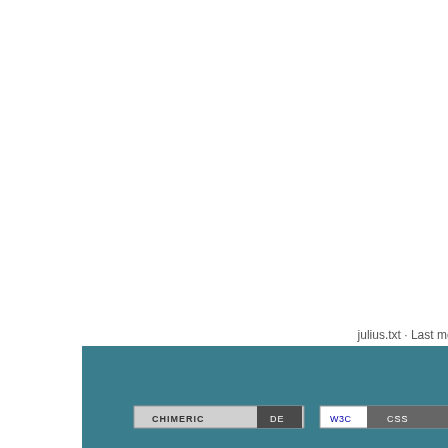Highlight
nvdajp
NVDA Japanese enhanc
pyAA
sidebar
Sitemap
Takuya Nishimo
Subsite
julius.txt · Last modified: 2012/03/25 21:03 by nishimotz
[Figure (infographic): Bottom banner with teal background containing badge icons: CHIMERIC DE, WSC CSS, DOKUWIKI, GET FIREFOX in top row; RSS XML-FEED, WSC XHTML 1.0 badges in bottom row]